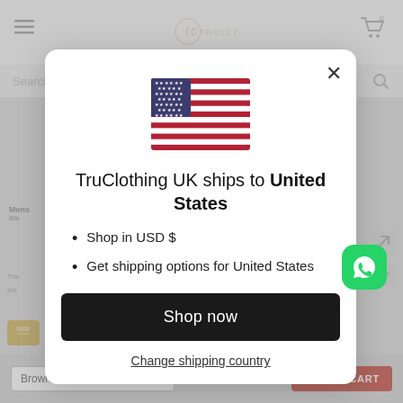[Figure (screenshot): Background of a TruClothing e-commerce website with navigation bar, search bar, product listing, and page elements visible but blurred/dimmed behind a modal overlay]
[Figure (screenshot): Modal popup dialog with US flag icon, text 'TruClothing UK ships to United States', bullet points listing 'Shop in USD $' and 'Get shipping options for United States', a 'Shop now' black button, and a 'Change shipping country' underlined link]
TruClothing UK ships to United States
Shop in USD $
Get shipping options for United States
Shop now
Change shipping country